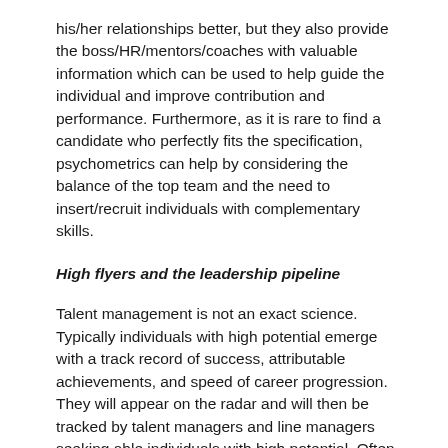his/her relationships better, but they also provide the boss/HR/mentors/coaches with valuable information which can be used to help guide the individual and improve contribution and performance. Furthermore, as it is rare to find a candidate who perfectly fits the specification, psychometrics can help by considering the balance of the top team and the need to insert/recruit individuals with complementary skills.
High flyers and the leadership pipeline
Talent management is not an exact science. Typically individuals with high potential emerge with a track record of success, attributable achievements, and speed of career progression. They will appear on the radar and will then be tracked by talent managers and line managers seeking able individuals with high potential. Often such individuals progress upwards by moving between organisations, by gaining